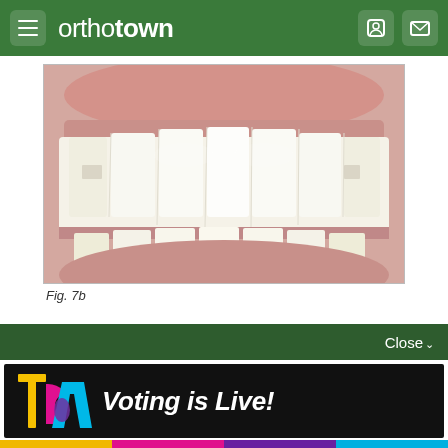orthotown
[Figure (photo): Close-up frontal photograph of patient's teeth/smile showing orthodontic result - white teeth with pink gums and lips]
Fig. 7b
Appointment details
1. When the patient arrives, new photographs are taken to
[Figure (infographic): TCA Voting is Live! advertisement banner with colorful TCA logo on black background]